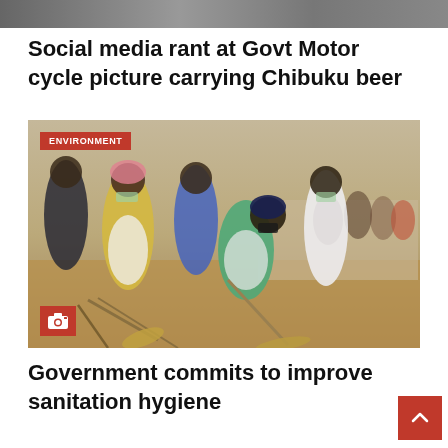[Figure (photo): Partial top image, cropped, appears to be a vehicle or motorcycle scene]
Social media rant at Govt Motor cycle picture carrying Chibuku beer
[Figure (photo): People wearing face masks and aprons sweeping/cleaning outdoors with brooms, community sanitation activity. ENVIRONMENT badge in top left corner, camera icon badge in bottom left.]
Government commits to improve sanitation hygiene